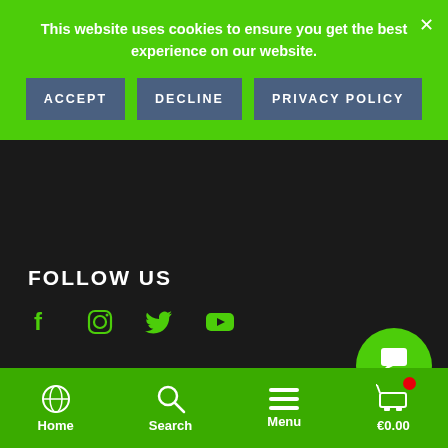This website uses cookies to ensure you get the best experience on our website.
ACCEPT
DECLINE
PRIVACY POLICY
FOLLOW US
[Figure (illustration): Social media icons: Facebook, Instagram, Twitter, YouTube in green]
NEWSLETTER
Sign up for Newsletter
Your email
[Figure (illustration): Contact button circle with chat icon and text 'Contact']
Home  Search  Menu  €0.00